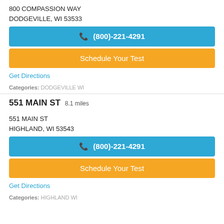800 COMPASSION WAY
DODGEVILLE, WI 53533
(800)-221-4291
Schedule Your Test
Get Directions
Categories: DODGEVILLE WI
551 MAIN ST 8.1 miles
551 MAIN ST
HIGHLAND, WI 53543
(800)-221-4291
Schedule Your Test
Get Directions
Categories: HIGHLAND WI